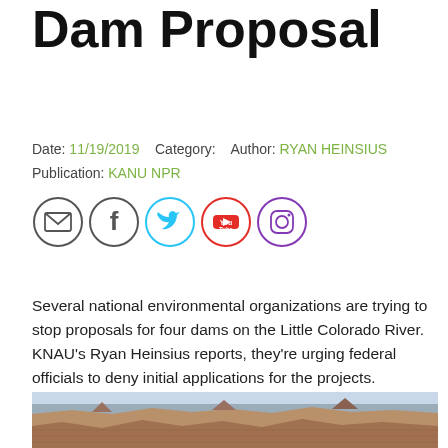To Reject LCR Dam Proposal
Date: 11/19/2019    Category:    Author: RYAN HEINSIUS
Publication: KANU NPR
[Figure (infographic): Social media share icons: email, Facebook, Twitter, YouTube, Instagram]
Several national environmental organizations are trying to stop proposals for four dams on the Little Colorado River. KNAU's Ryan Heinsius reports, they're urging federal officials to deny initial applications for the projects.
[Figure (photo): Aerial photograph of the Grand Canyon showing layered rock formations and canyon landscape.]